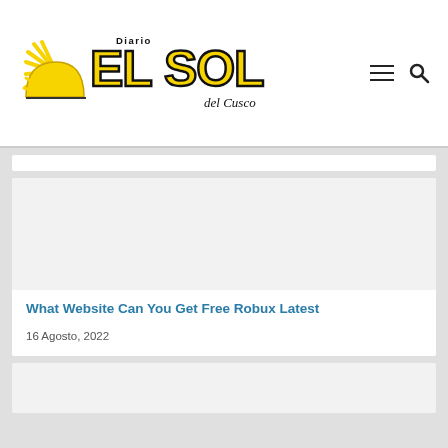Diario El Sol del Cusco — navigation header with logo
[Figure (logo): Diario El Sol del Cusco newspaper logo with yellow sun graphic and bold yellow 'EL SOL' text with black outline, 'Diario' above and 'del Cusco' in cursive below]
What Website Can You Get Free Robux Latest
16 Agosto, 2022